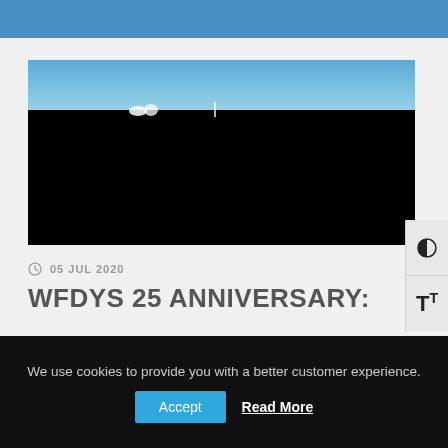[Figure (photo): A dark photograph showing a mostly black foreground with a slim strip of blue sky at the top, suggesting a nighttime or low-light outdoor scene.]
05 JUL 2020
WFDYS 25 ANNIVERSARY:
We use cookies to provide you with a better customer experience. Accept Read More